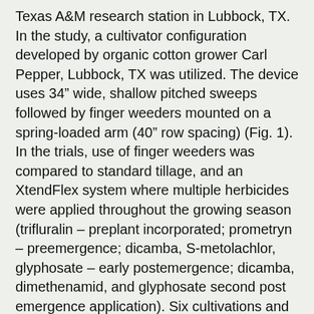Texas A&M research station in Lubbock, TX. In the study, a cultivator configuration developed by organic cotton grower Carl Pepper, Lubbock, TX was utilized. The device uses 34" wide, shallow pitched sweeps followed by finger weeders mounted on a spring-loaded arm (40" row spacing) (Fig. 1). In the trials, use of finger weeders was compared to standard tillage, and an XtendFlex system where multiple herbicides were applied throughout the growing season (trifluralin – preplant incorporated; prometryn – preemergence; dicamba, S-metolachlor, glyphosate – early postemergence; dicamba, dimethenamid, and glyphosate second post emergence application). Six cultivations and two spray applications were made each year as dictated by weed pressure. Weed counts were recorded following cultivation and/or herbicide application on the dates indicated in Table 1. Hand weeding operations were performed twice during the season to control weed escapes.